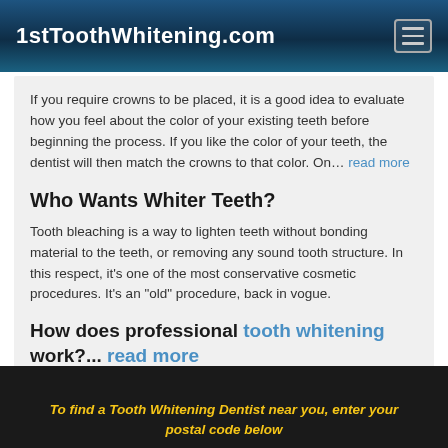1stToothWhitening.com
If you require crowns to be placed, it is a good idea to evaluate how you feel about the color of your existing teeth before beginning the process. If you like the color of your teeth, the dentist will then match the crowns to that color. On… read more
Who Wants Whiter Teeth?
Tooth bleaching is a way to lighten teeth without bonding material to the teeth, or removing any sound tooth structure. In this respect, it's one of the most conservative cosmetic procedures. It's an "old" procedure, back in vogue.
How does professional tooth whitening work?... read more
To find a Tooth Whitening Dentist near you, enter your postal code below